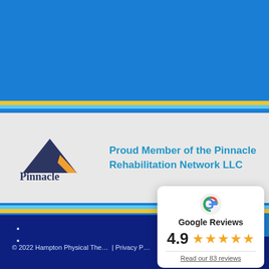[Figure (logo): Pinnacle Rehabilitation Network logo with mountain/triangle graphic and text]
Proud Member of the Pinnacle Rehabilitation Network LLC
• (footer link 1)
• (footer link 2)
🔗Follow
🔗Follow
© 2022 Hampton Physical The... | Privacy P...
[Figure (infographic): Google Reviews popup card showing 4.9 stars rating and 'Read our 83 reviews' link]